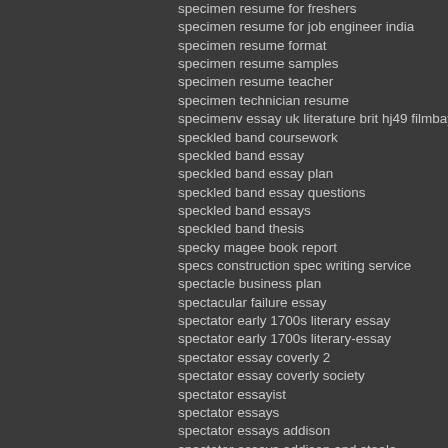specimen resume for freshers
specimen resume for job engineer india
specimen resume format
specimen resume samples
specimen resume teacher
specimen technician resume
specimenv essay uk literature brit hj49 filmbay hj21 l classics txt
speckled band coursework
speckled band essay
speckled band essay plan
speckled band essay questions
speckled band essays
speckled band thesis
specky magee book report
specs construction spec writing service
spectacle business plan
spectacular failure essay
spectator early 1700s literary essay
spectator early 1700s literary-essay
spectator essay coverly 2
spectator essay coverly society
spectator essayist
spectator essays
spectator essays addison
spectator essays addison and steele
spectator march 4 1712 essay
spectator of an accident essay
spectators in sport essay
spectrabrace jobs resume
spectral approaches to learning predictive r